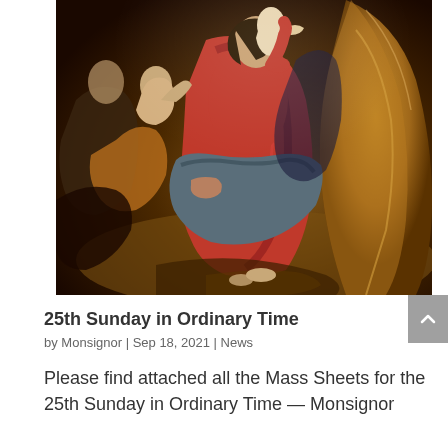[Figure (illustration): A classical religious painting depicting the Virgin Mary seated in red robes holding the Christ child, surrounded by several figures including saints and angels. Rich colors of red, blue/grey drapery, and warm golden-brown tones on the right figure.]
25th Sunday in Ordinary Time
by Monsignor | Sep 18, 2021 | News
Please find attached all the Mass Sheets for the 25th Sunday in Ordinary Time — Monsignor